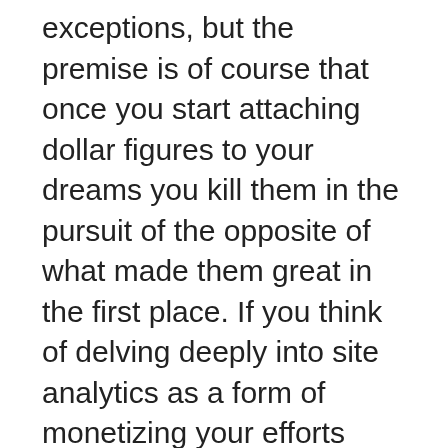exceptions, but the premise is of course that once you start attaching dollar figures to your dreams you kill them in the pursuit of the opposite of what made them great in the first place. If you think of delving deeply into site analytics as a form of monetizing your efforts (with traffic), analytics could be killing your writing in the same way.
If you have a commercial site and are creating content specifically around traffic, that's one thing. But if your efforts